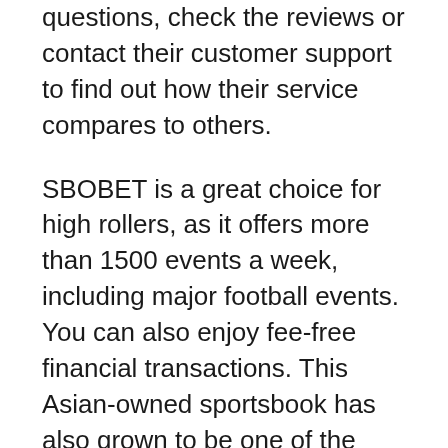questions, check the reviews or contact their customer support to find out how their service compares to others.
SBOBET is a great choice for high rollers, as it offers more than 1500 events a week, including major football events. You can also enjoy fee-free financial transactions. This Asian-owned sportsbook has also grown to be one of the largest bookmakers in Asia. If you want to find the best odds for Asian sports, SBOBET is worth looking into. It has a lot of great features to offer, including live in-play betting, free bets, and a variety of games.
Another Asian sportsbook, SBOBet is an excellent choice for customers in the Philippines and the Isle of Man. With branches in the Philippines and Isle of